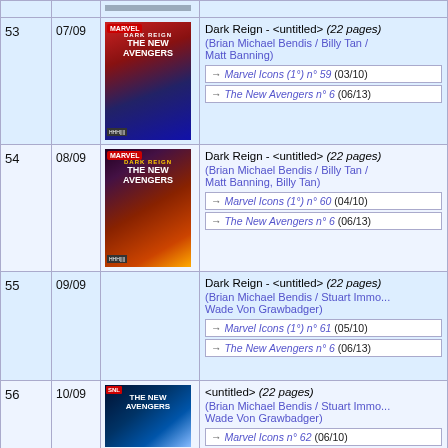| # | Date | Cover | Description |
| --- | --- | --- | --- |
| 53 | 07/09 | [cover image] | Dark Reign - <untitled> (22 pages)
(Brian Michael Bendis / Billy Tan / Matt Banning)
→ Marvel Icons (1°) n° 59 (03/10)
→ The New Avengers n° 6 (06/13) |
| 54 | 08/09 | [cover image] | Dark Reign - <untitled> (22 pages)
(Brian Michael Bendis / Billy Tan / Matt Banning, Billy Tan)
→ Marvel Icons (1°) n° 60 (04/10)
→ The New Avengers n° 6 (06/13) |
| 55 | 09/09 |  | Dark Reign - <untitled> (22 pages)
(Brian Michael Bendis / Stuart Immo... / Wade Von Grawbadger)
→ Marvel Icons (1°) n° 61 (05/10)
→ The New Avengers n° 6 (06/13) |
| 56 | 10/09 | [cover image] | <untitled> (22 pages)
(Brian Michael Bendis / Stuart Immo... / Wade Von Grawbadger)
→ Marvel Icons n° 62 (06/10) |